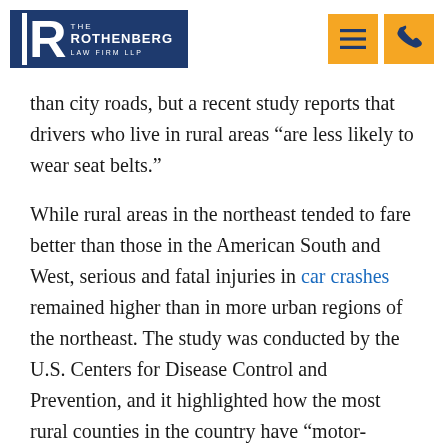The Rothenberg Law Firm LLP
than city roads, but a recent study reports that drivers who live in rural areas “are less likely to wear seat belts.”
While rural areas in the northeast tended to fare better than those in the American South and West, serious and fatal injuries in car crashes remained higher than in more urban regions of the northeast. The study was conducted by the U.S. Centers for Disease Control and Prevention, and it highlighted how the most rural counties in the country have “motor-vehicle death rates three to 10 times higher than those in most